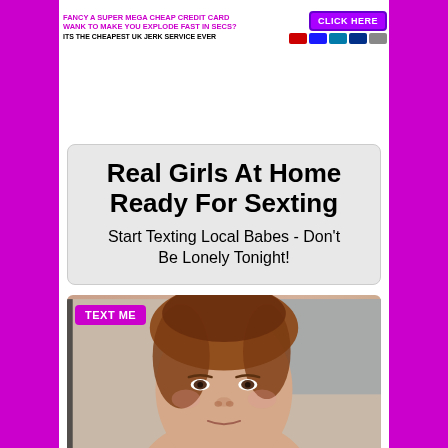[Figure (infographic): Advertisement banner: 'FANCY A SUPER MEGA CHEAP CREDIT CARD WANK TO MAKE YOU EXPLODE FAST IN SECS? ITS THE CHEAPEST UK JERK SERVICE EVER' with a purple CLICK HERE button and payment card icons]
Real Girls At Home Ready For Sexting
Start Texting Local Babes - Don't Be Lonely Tonight!
[Figure (photo): Photo of a young woman with reddish-brown hair pulled back, looking down toward the camera with a slight smile, with a 'TEXT ME' button overlaid in the top-left corner]